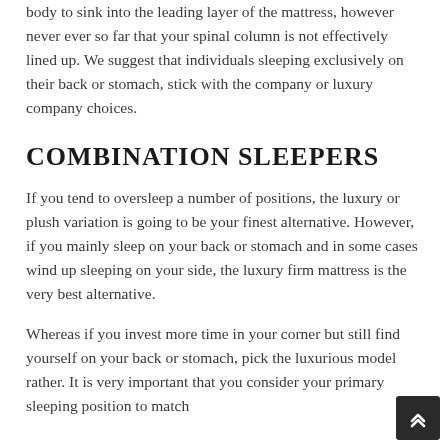body to sink into the leading layer of the mattress, however never ever so far that your spinal column is not effectively lined up. We suggest that individuals sleeping exclusively on their back or stomach, stick with the company or luxury company choices.
COMBINATION SLEEPERS
If you tend to oversleep a number of positions, the luxury or plush variation is going to be your finest alternative. However, if you mainly sleep on your back or stomach and in some cases wind up sleeping on your side, the luxury firm mattress is the very best alternative.
Whereas if you invest more time in your corner but still find yourself on your back or stomach, pick the luxurious model rather. It is very important that you consider your primary sleeping position to match